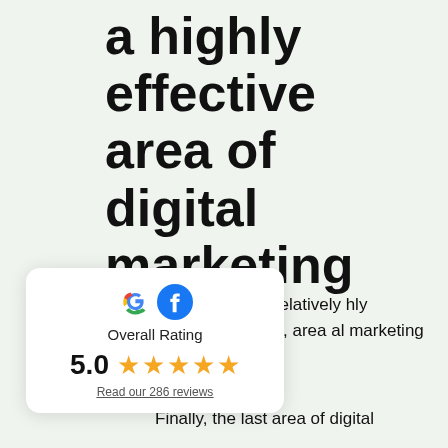a highly effective area of digital marketing
hy is a relatively hly effective, area al marketing
[Figure (infographic): Rating card with Google and Facebook logos showing Overall Rating of 5.0 with five gold stars and a link to read 286 reviews]
Finally, the last area of digital